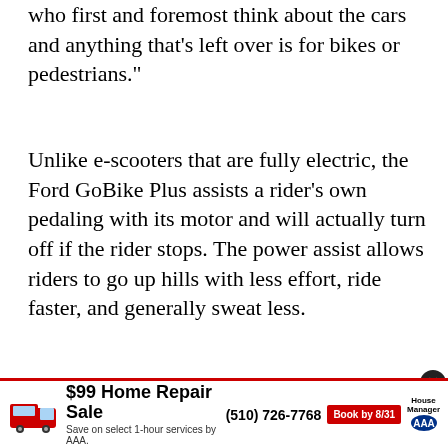who first and foremost think about the cars and anything that's left over is for bikes or pedestrians."
Unlike e-scooters that are fully electric, the Ford GoBike Plus assists a rider's own pedaling with its motor and will actually turn off if the rider stops. The power assist allows riders to go up hills with less effort, ride faster, and generally sweat less.
[Figure (illustration): Advertisement for hi*fidelity cannabis shop — Berkeley's Own. Green, teal, and gold diagonal background. Text: 'BERKELEY'S OWN', 'hi*fidelity cannabis shop', 'BY FAR THE BAY AREA'S LARGEST SELECTION OF CANNABIS PRODUCTS']
[Figure (infographic): Bottom banner advertisement: $99 Home Repair Sale, Save on select 1-hour services by AAA. Phone: (510) 726-7768. Book by 8/31. House Manager logo. AAA logo.]